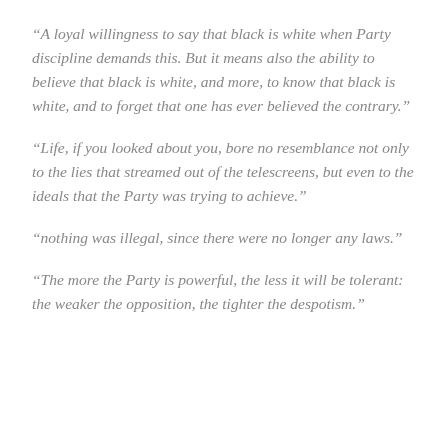“A loyal willingness to say that black is white when Party discipline demands this. But it means also the ability to believe that black is white, and more, to know that black is white, and to forget that one has ever believed the contrary.”
“Life, if you looked about you, bore no resemblance not only to the lies that streamed out of the telescreens, but even to the ideals that the Party was trying to achieve.”
“nothing was illegal, since there were no longer any laws.”
“The more the Party is powerful, the less it will be tolerant: the weaker the opposition, the tighter the despotism.”